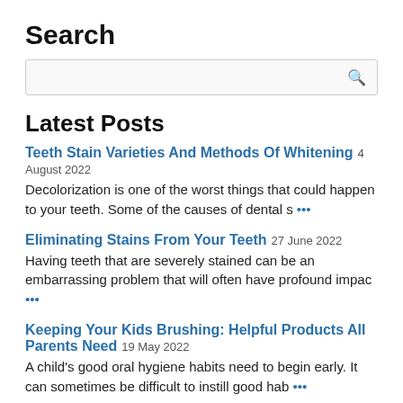Search
Latest Posts
Teeth Stain Varieties And Methods Of Whitening 4 August 2022 — Decolorization is one of the worst things that could happen to your teeth. Some of the causes of dental s …
Eliminating Stains From Your Teeth 27 June 2022 — Having teeth that are severely stained can be an embarrassing problem that will often have profound impac …
Keeping Your Kids Brushing: Helpful Products All Parents Need 19 May 2022 — A child's good oral hygiene habits need to begin early. It can sometimes be difficult to instill good hab …